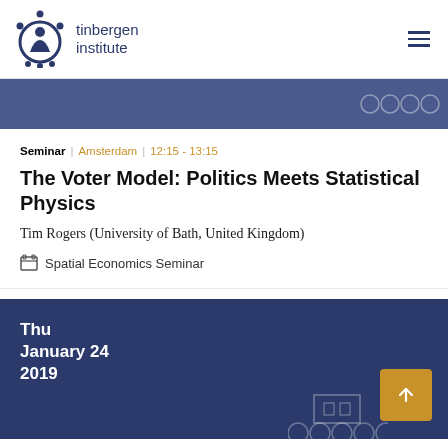[Figure (logo): Tinbergen Institute logo with figure icon and text 'tinbergen institute']
Seminar | Amsterdam | 12:15 - 13:15
The Voter Model: Politics Meets Statistical Physics
Tim Rogers (University of Bath, United Kingdom)
Spatial Economics Seminar
Thu January 24 2019